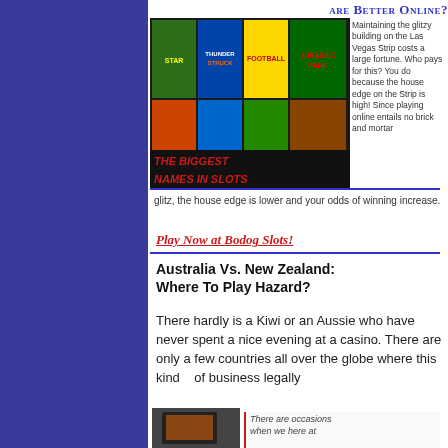are Better Online?
Casino Gambling Home
Casino Strategy
Casino Comps
Casino News
Casino Gambling Books
[Figure (screenshot): Bodog casino advertisement showing slot game images with text 'THE BIGGEST NAMES IN SLOTS']
Maintaining the glitzy building on the Las Vegas Strip costs a large fortune. Who pays for this? You do because the house edge on the Strip is high! Since playing online entails no brick and mortar glitz, the house edge is lower and your odds of winning increase.
Play Now at Bodog Slots!
Australia Vs. New Zealand: Where To Play Hazard?
There hardly is a Kiwi or an Aussie who have never spent a nice evening at a casino. There are only a few countries all over the globe where this kind   of business legally
There are occasions when we here at